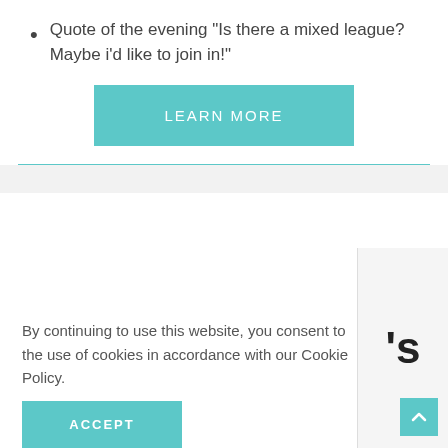Quote of the evening "Is there a mixed league? Maybe i'd like to join in!"
LEARN MORE
By continuing to use this website, you consent to the use of cookies in accordance with our Cookie Policy.
ACCEPT